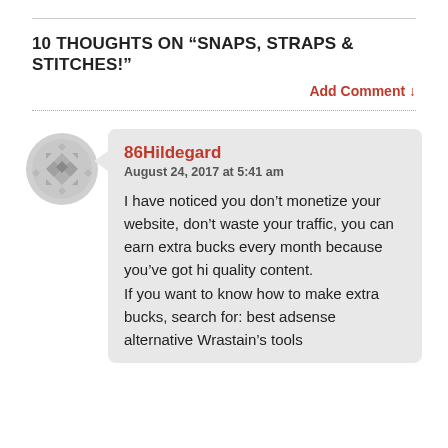10 THOUGHTS ON “SNAPS, STRAPS & STITCHES!”
Add Comment ↓
86Hildegard
August 24, 2017 at 5:41 am

I have noticed you don’t monetize your website, don’t waste your traffic, you can earn extra bucks every month because you’ve got hi quality content.
If you want to know how to make extra bucks, search for: best adsense alternative Wrastain’s tools